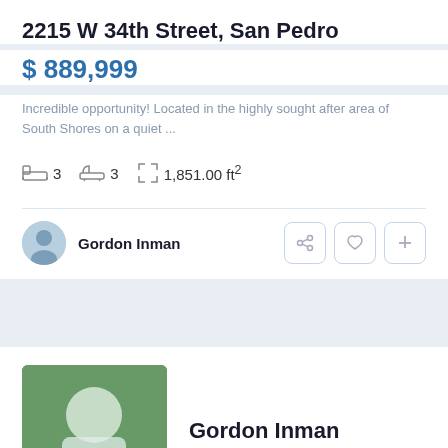2215 W 34th Street, San Pedro
$ 889,999
Incredible opportunity! Located in the highly sought after area of South Shores on a quiet ...
3   3   1,851.00 ft²
Gordon Inman
Gordon Inman
DRE#01501084
Gordon Inman